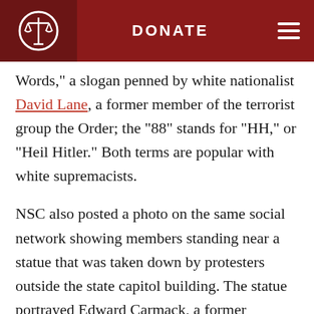DONATE
Words," a slogan penned by white nationalist David Lane, a former member of the terrorist group the Order; the "88" stands for "HH," or "Heil Hitler." Both terms are popular with white supremacists.

NSC also posted a photo on the same social network showing members standing near a statue that was taken down by protesters outside the state capitol building. The statue portrayed Edward Carmack, a former Tennessee lawmaker of the early 1900s and newspaper editor who was also an advocate of